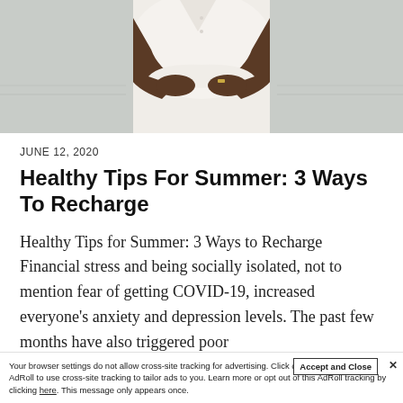[Figure (photo): Photo of a person in white clothing with arms crossed, standing at a beach with water in the background. Only the torso and arms are visible.]
JUNE 12, 2020
Healthy Tips For Summer: 3 Ways To Recharge
Healthy Tips for Summer: 3 Ways to Recharge Financial stress and being socially isolated, not to mention fear of getting COVID-19, increased everyone's anxiety and depression levels. The past few months have also triggered poor
Your browser settings do not allow cross-site tracking for advertising. Click on this page to allow AdRoll to use cross-site tracking to tailor ads to you. Learn more or opt out of this AdRoll tracking by clicking here. This message only appears once.